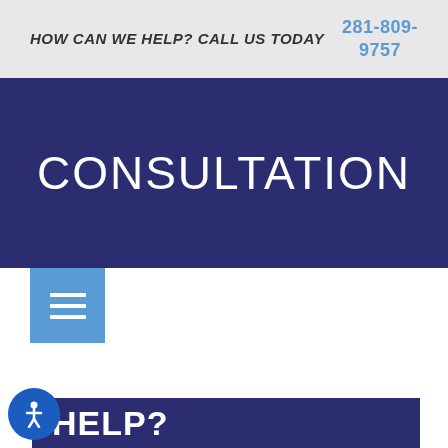HOW CAN WE HELP? CALL US TODAY
281-809-9757
CONSULTATION
[Figure (other): Blue square hamburger menu button with three white horizontal lines]
HOW CAN WE HELP?
[Figure (other): Circular blue accessibility icon button with a person figure]